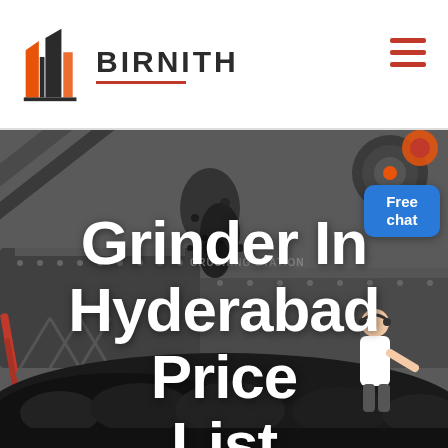[Figure (logo): Birnith company logo: orange and dark grey building/tower icon with the brand name BIRNITH in bold uppercase letters and a red underline beneath]
[Figure (photo): Dark industrial photograph of a crushing station with heavy mining machinery, conveyor belts, and a large pile of black coal/rocks in the foreground. A person in a white blazer is visible on the right side near a blue Free chat button overlay.]
Grinder In Hyderabad Price List